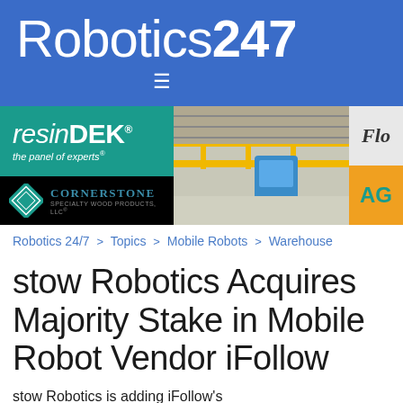Robotics247
[Figure (screenshot): ResinDEK and Cornerstone Specialty Wood Products advertisement banner on the left, warehouse robot photo in the middle, partially visible Flo and AG ads on the right]
Robotics 24/7 > Topics > Mobile Robots > Warehouse
stow Robotics Acquires Majority Stake in Mobile Robot Vendor iFollow
stow Robotics is adding iFollow's